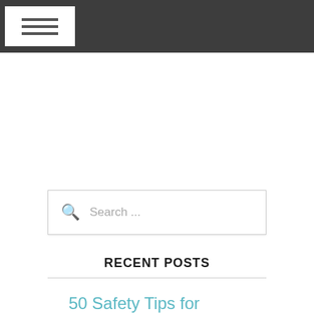[Figure (other): Dark navigation bar with white hamburger menu button containing three horizontal lines]
Search ...
RECENT POSTS
50 Safety Tips for Traveling Alone & Things to Keep in Mind